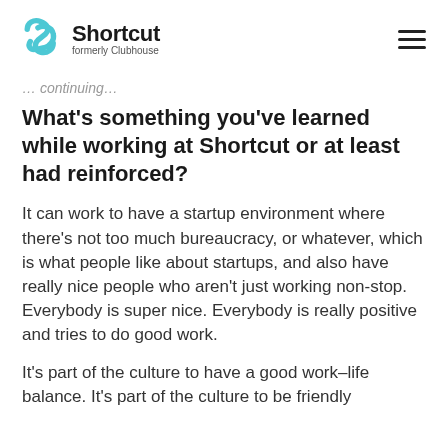Shortcut formerly Clubhouse
…continuing from previous page…
What's something you've learned while working at Shortcut or at least had reinforced?
It can work to have a startup environment where there's not too much bureaucracy, or whatever, which is what people like about startups, and also have really nice people who aren't just working non-stop. Everybody is super nice. Everybody is really positive and tries to do good work.
It's part of the culture to have a good work–life balance. It's part of the culture to be friendly